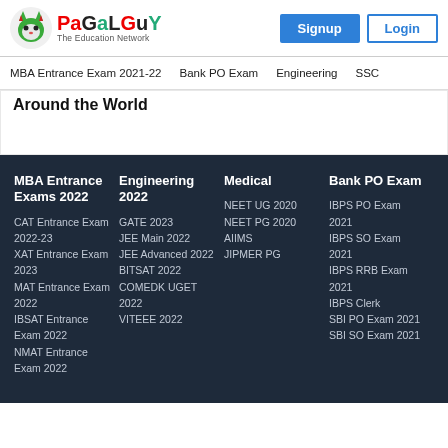[Figure (logo): PaGaLGuY logo with green cat-like mascot icon and text 'PaGaLGuY The Education Network']
Signup
Login
MBA Entrance Exam 2021-22   Bank PO Exam   Engineering   SSC
Around the World
MBA Entrance Exams 2022
CAT Entrance Exam 2022-23
XAT Entrance Exam 2023
MAT Entrance Exam 2022
IBSAT Entrance Exam 2022
NMAT Entrance Exam 2022
Engineering 2022
GATE 2023
JEE Main 2022
JEE Advanced 2022
BITSAT 2022
COMEDK UGET 2022
VITEEE 2022
Medical
NEET UG 2020
NEET PG 2020
AIIMS
JIPMER PG
Bank PO Exam
IBPS PO Exam 2021
IBPS SO Exam 2021
IBPS RRB Exam 2021
IBPS Clerk
SBI PO Exam 2021
SBI SO Exam 2021